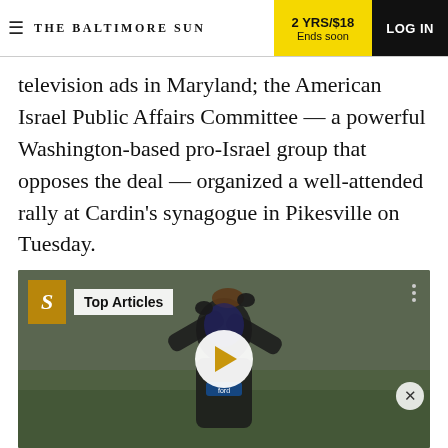THE BALTIMORE SUN | 2 YRS/$18 Ends soon | LOG IN
television ads in Maryland; the American Israel Public Affairs Committee — a powerful Washington-based pro-Israel group that opposes the deal — organized a well-attended rally at Cardin's synagogue in Pikesville on Tuesday.
[Figure (photo): Video player thumbnail showing a football player catching a ball, with 'Top Articles' overlay label and a play button in the center.]
ADVERTISEMENT
Farmers & Merchants Bank is able to provide your business with Commercial Mortgage and Real Estate financing by offering competitive interest rates, attractive terms, efficient settlement and personalized service.